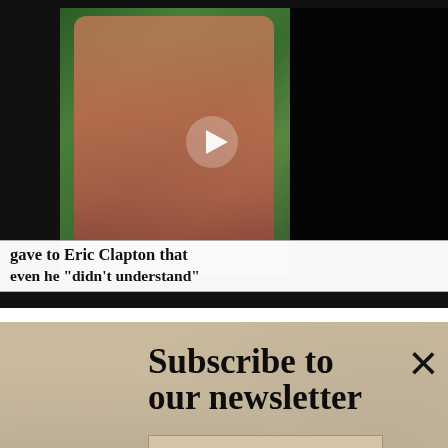[Figure (screenshot): Video thumbnail showing a woman in a pink top with a play button overlay, partially showing a dark right side]
gave to Eric Clapton that even he "didn't understand"
Subscribe to our newsletter
Your e-mail address   SIGN UP
Sgt. Pepper
[Figure (infographic): Walgreens Photo advertisement: Satisfaction Guaranteed, Walgreens Photo]
Satisfaction Guaranteed Walgreens Photo